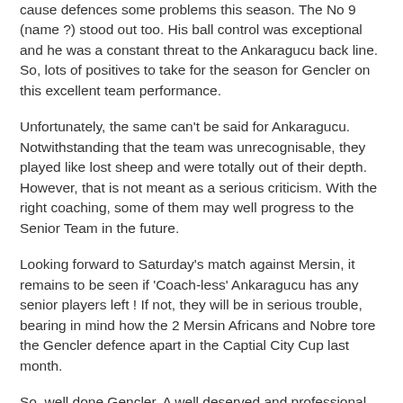cause defences some problems this season. The No 9 (name ?) stood out too. His ball control was exceptional and he was a constant threat to the Ankaragucu back line. So, lots of positives to take for the season for Gencler on this excellent team performance.
Unfortunately, the same can't be said for Ankaragucu. Notwithstanding that the team was unrecognisable, they played like lost sheep and were totally out of their depth. However, that is not meant as a serious criticism. With the right coaching, some of them may well progress to the Senior Team in the future.
Looking forward to Saturday's match against Mersin, it remains to be seen if 'Coach-less' Ankaragucu has any senior players left ! If not, they will be in serious trouble, bearing in mind how the 2 Mersin Africans and Nobre tore the Gencler defence apart in the Captial City Cup last month.
So, well done Gencler. A well deserved and professional performance.
It is now 19 years since Ankaragucu won the Ankara TSYD...